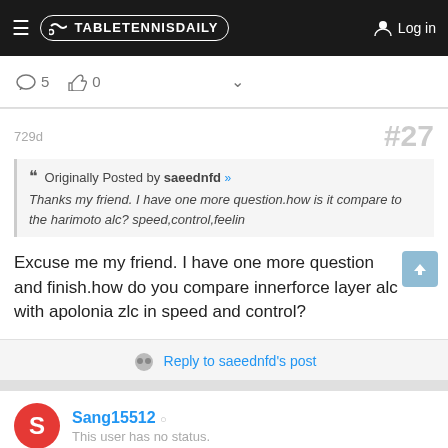TableTennisDaily — Log in
5 comments, 0 likes
729d  #27
Originally Posted by saeednfd >> Thanks my friend. I have one more question.how is it compare to the harimoto alc? speed,control,feelin
Excuse me my friend. I have one more question and finish.how do you compare innerforce layer alc with apolonia zlc in speed and control?
Reply to saeednfd's post
Sang15512 ○
This user has no status.